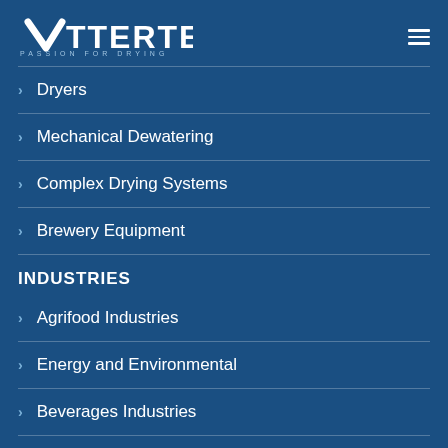[Figure (logo): VetterTec logo with checkmark V shape and tagline PASSION FOR DRYING]
Dryers
Mechanical Dewatering
Complex Drying Systems
Brewery Equipment
INDUSTRIES
Agrifood Industries
Energy and Environmental
Beverages Industries
Chemical Industries